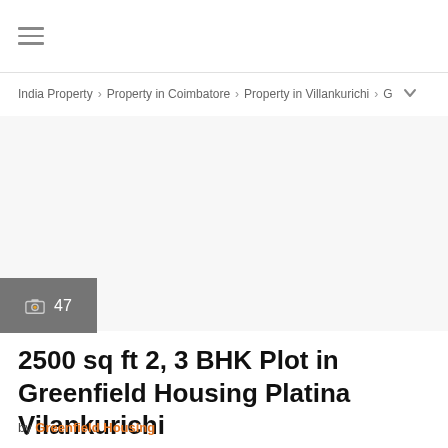≡ (hamburger menu)
India Property › Property in Coimbatore › Property in Villankurichi › G
[Figure (photo): Large property image area (mostly white/blank in this view)]
📷 47
2500 sq ft 2, 3 BHK Plot in Greenfield Housing Platina Vilankurichi
by Greenfield Housing